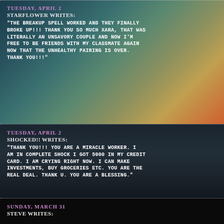TUESDAY, APRIL 2
STARFLOWER WRITES:
"THE BREAKUP SPELL WORKED AND THEY FINALLY BROKE UP!!! THANK YOU SO MUCH XARA, THAT WAS LITERALLY AN UNSAVORY COUPLE AND NOW I'M FREE TO BE FRIENDS WITH MY CLASSMATE AGAIN NOW THAT THE UNHEALTHY PAIRING IS OVER. THANK YOU!!!"
TUESDAY, APRIL 2
SHOCKED!! WRITES:
"THANK YOU!!! YOU ARE A MIRACLE WORKER. I AM IN COMPLETE SHOCK I GOT 5000 IN MY CREDIT CARD. I AM CRYING RIGHT NOW. I CAN MAKE INVESTMENTS, BUY GROCERIES ETC. YOU ARE THE REAL DEAL. THANK U. YOU ARE A BLESSING."
SUNDAY, MARCH 31
STEVE WRITES: